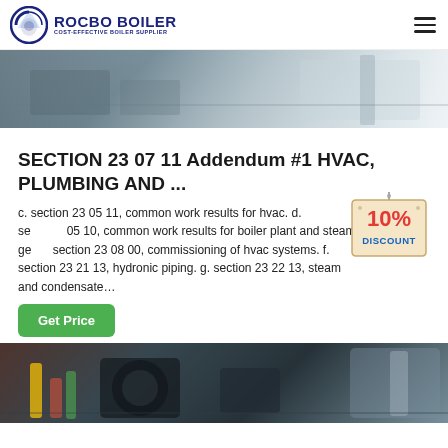ROCBO BOILER — COST-EFFECTIVE BOILER SUPPLIER
[Figure (photo): Top photo showing industrial boiler/HVAC equipment in a facility setting]
SECTION 23 07 11 Addendum #1 HVAC, PLUMBING AND ...
c. section 23 05 11, common work results for hvac. d. section 23 05 10, common work results for boiler plant and steam ge... section 23 08 00, commissioning of hvac systems. f. section 23 21 13, hydronic piping. g. section 23 22 13, steam and condensate...
[Figure (other): 10% DISCOUNT badge/sticker overlay in red and blue text on a tan sign shape]
[Figure (photo): Bottom photo showing industrial boiler equipment with yellow and red pipes, black machinery]